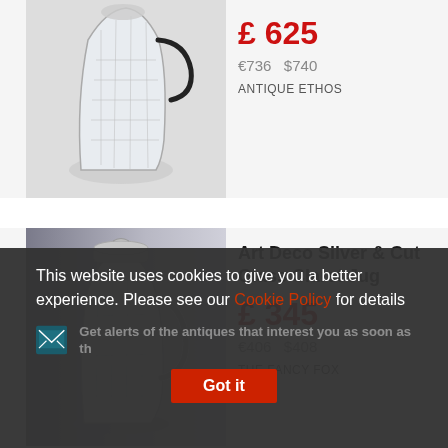[Figure (photo): Crystal glass jug with curved dark handle, ornate cut glass pattern, top portion visible]
£ 625
€736   $740
ANTIQUE ETHOS
[Figure (photo): Art Deco silver mounted cut glass claret jug with silver lid and handle, on gradient grey background]
Art Deco Silver & Cut Glass Claret Jug
£ 345
€406   $408
THE FANCY FOX
This website uses cookies to give you a better experience. Please see our Cookie Policy for details
Get alerts of the antiques that interest you as soon as they are uploaded
Got it